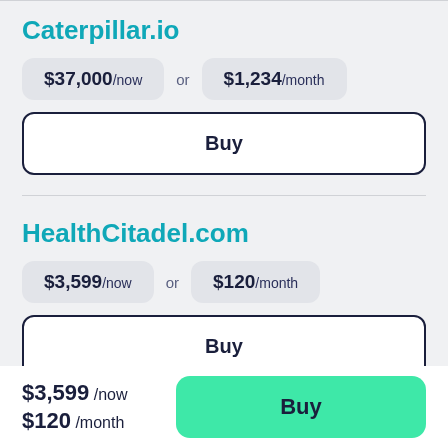Caterpillar.io
$37,000/now or $1,234/month
Buy
HealthCitadel.com
$3,599/now or $120/month
Buy
$3,599 /now $120 /month
Buy